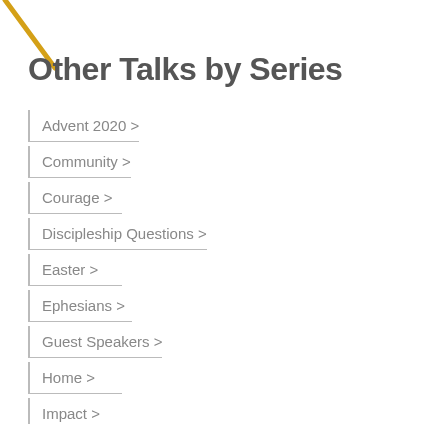[Figure (other): Yellow diagonal line in upper-left corner]
Other Talks by Series
Advent 2020 >
Community >
Courage >
Discipleship Questions >
Easter >
Ephesians >
Guest Speakers >
Home >
Impact >